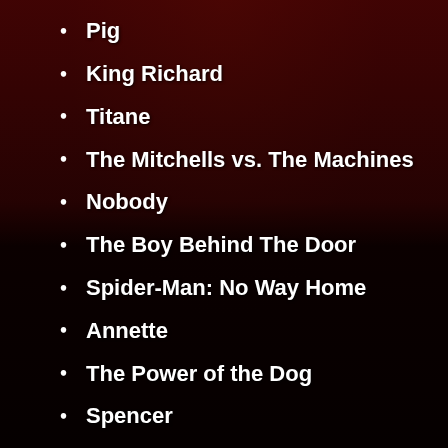Pig
King Richard
Titane
The Mitchells vs. The Machines
Nobody
The Boy Behind The Door
Spider-Man: No Way Home
Annette
The Power of the Dog
Spencer